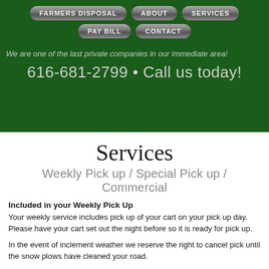FARMERS DISPOSAL | ABOUT | SERVICES | PAY BILL | CONTACT
We are one of the last private companies in our immediate area!
616-681-2799 • Call us today!
Services
Weekly Pick up / Special Pick up / Commercial
Included in your Weekly Pick Up
Your weekly service includes pick up of your cart on your pick up day. Please have your cart set out the night before so it is ready for pick up.
In the event of inclement weather we reserve the right to cancel pick until the snow plows have cleaned your road.
If you live on a private road and are not plowed or cleaned on a regular basis it